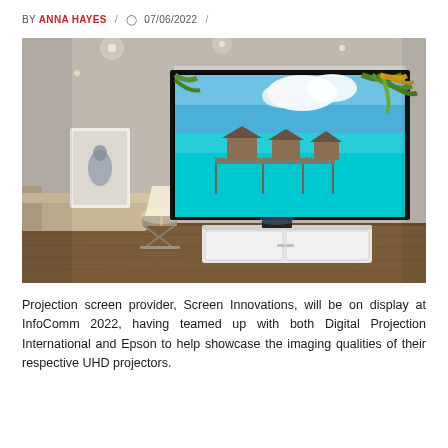BY ANNA HAYES / 07/06/2022 /
[Figure (photo): A projection screen mounted on a grey brick wall in a modern living room, displaying a tropical beach scene with turquoise water and overwater bungalows. The room has recessed ceiling lights, a sofa, a floor lamp, wall art, and a white media console below the screen.]
Projection screen provider, Screen Innovations, will be on display at InfoComm 2022, having teamed up with both Digital Projection International and Epson to help showcase the imaging qualities of their respective UHD projectors.